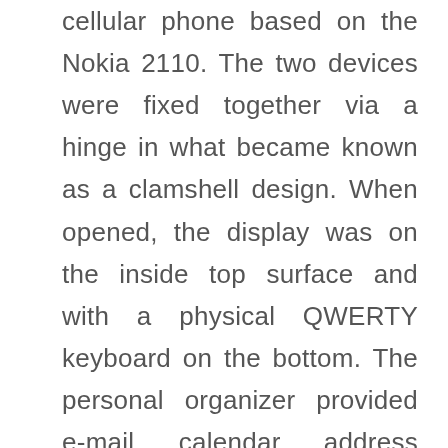cellular phone based on the Nokia 2110. The two devices were fixed together via a hinge in what became known as a clamshell design. When opened, the display was on the inside top surface and with a physical QWERTY keyboard on the bottom. The personal organizer provided e-mail, calendar, address book, calculator and notebook with text-based web browsing, and the ability to send and receive faxes. When the personal organizer was closed, it could be used as a digital cellular phone. In June 1999, Qualcomm released a “CDMA Digital PCS